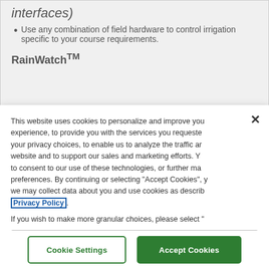interfaces)
Use any combination of field hardware to control irrigation specific to your course requirements.
RainWatch™
This website uses cookies to personalize and improve your experience, to provide you with the services you requested, your privacy choices, to enable us to analyze the traffic and website and to support our sales and marketing efforts. You to consent to our use of these technologies, or further manage preferences. By continuing or selecting "Accept Cookies", we may collect data about you and use cookies as described Privacy Policy.
If you wish to make more granular choices, please select "
Do Not Sell my Information – this will disable personalized advertising and track
Cookie Settings
Accept Cookies